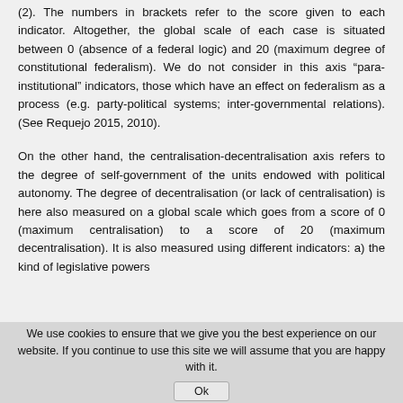(2). The numbers in brackets refer to the score given to each indicator. Altogether, the global scale of each case is situated between 0 (absence of a federal logic) and 20 (maximum degree of constitutional federalism). We do not consider in this axis “para-institutional” indicators, those which have an effect on federalism as a process (e.g. party-political systems; inter-governmental relations). (See Requejo 2015, 2010).
On the other hand, the centralisation-decentralisation axis refers to the degree of self-government of the units endowed with political autonomy. The degree of decentralisation (or lack of centralisation) is here also measured on a global scale which goes from a score of 0 (maximum centralisation) to a score of 20 (maximum decentralisation). It is also measured using different indicators: a) the kind of legislative powers
We use cookies to ensure that we give you the best experience on our website. If you continue to use this site we will assume that you are happy with it.  Ok